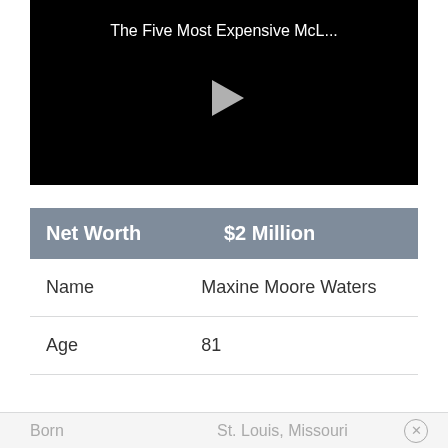[Figure (screenshot): Video thumbnail with black background showing title 'The Five Most Expensive McL...' and a play button triangle in the center]
| Net Worth | $2 Million |
| --- | --- |
| Name | Maxine Moore Waters |
| Age | 81 |
| Born | St. Louis, Missouri |